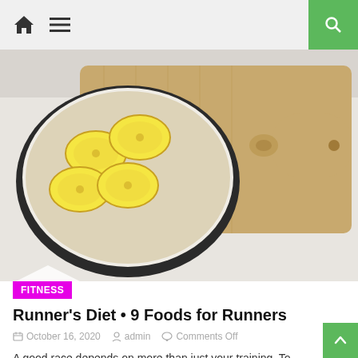Navigation bar with home icon, menu icon, and search button
[Figure (photo): Overhead view of a bowl of oatmeal topped with banana slices on a wooden cutting board with a wooden spoon, on a white surface.]
FITNESS
Runner's Diet • 9 Foods for Runners
October 16, 2020  admin  Comments Off
A good race depends on more than just your training. To